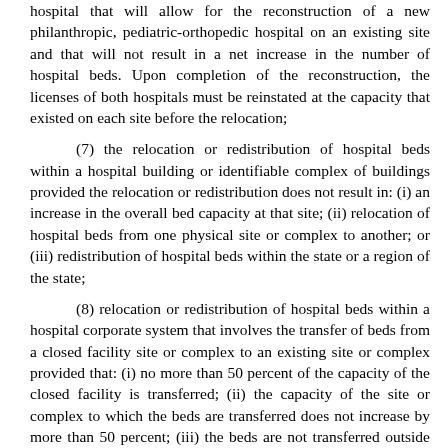hospital that will allow for the reconstruction of a new philanthropic, pediatric-orthopedic hospital on an existing site and that will not result in a net increase in the number of hospital beds. Upon completion of the reconstruction, the licenses of both hospitals must be reinstated at the capacity that existed on each site before the relocation;
(7) the relocation or redistribution of hospital beds within a hospital building or identifiable complex of buildings provided the relocation or redistribution does not result in: (i) an increase in the overall bed capacity at that site; (ii) relocation of hospital beds from one physical site or complex to another; or (iii) redistribution of hospital beds within the state or a region of the state;
(8) relocation or redistribution of hospital beds within a hospital corporate system that involves the transfer of beds from a closed facility site or complex to an existing site or complex provided that: (i) no more than 50 percent of the capacity of the closed facility is transferred; (ii) the capacity of the site or complex to which the beds are transferred does not increase by more than 50 percent; (iii) the beds are not transferred outside of a federal health systems agency boundary in place on July 1, 1983; (iv) the relocation or